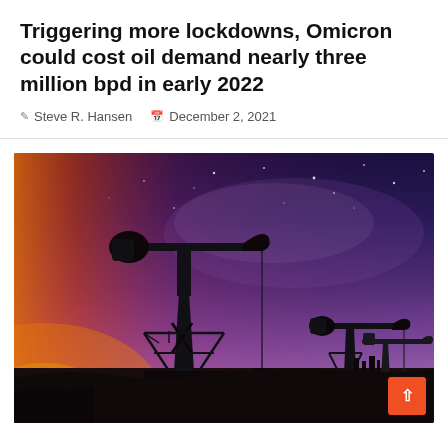Triggering more lockdowns, Omicron could cost oil demand nearly three million bpd in early 2022
Steve R. Hansen   December 2, 2021
[Figure (photo): Silhouette of oil pump jacks against a dramatic twilight/night sky with purple, blue and pink tones and stars visible, with warm orange sunrise glow on the left horizon]